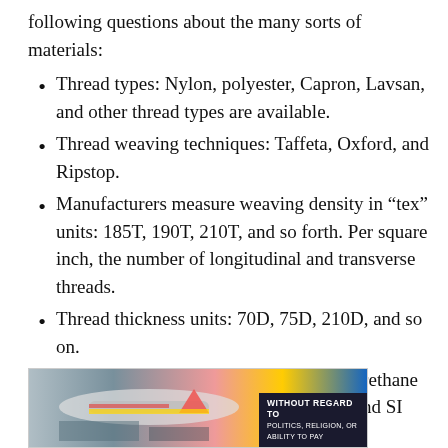following questions about the many sorts of materials:
Thread types: Nylon, polyester, Capron, Lavsan, and other thread types are available.
Thread weaving techniques: Taffeta, Oxford, and Ripstop.
Manufacturers measure weaving density in “tex” units: 185T, 190T, 210T, and so forth. Per square inch, the number of longitudinal and transverse threads.
Thread thickness units: 70D, 75D, 210D, and so on.
The existence of a water-repellent polyurethane and silicone covering, respectively PU and SI
[Figure (photo): Photo of cargo being loaded onto a commercial aircraft, with a dark banner reading 'WITHOUT REGARD TO' in white text.]